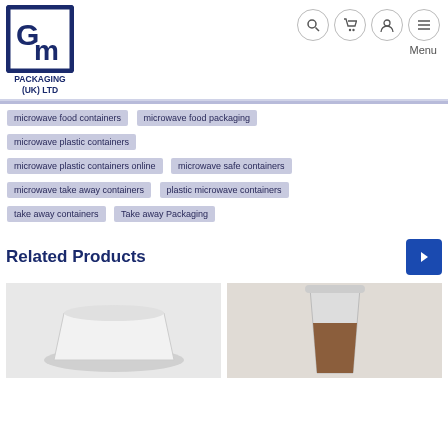[Figure (logo): GM Packaging (UK) Ltd logo — blue square with stylized G and M letters, text PACKAGING (UK) LTD below]
Navigation icons: search, cart, account, menu
microwave food containers
microwave food packaging
microwave plastic containers
microwave plastic containers online
microwave safe containers
microwave take away containers
plastic microwave containers
take away containers
Take away Packaging
Related Products
[Figure (photo): White plastic food container / packaging product]
[Figure (photo): Clear cup with brown liquid (coffee/drink) product]